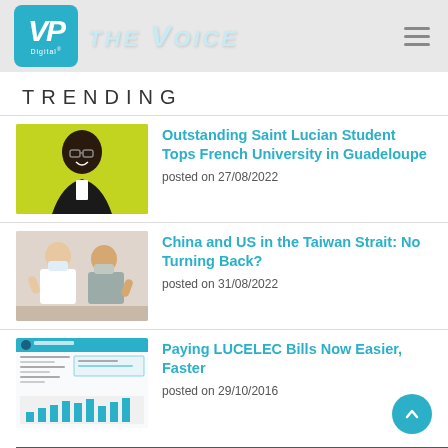VP Digital | THE VOICE
TRENDING
[Figure (photo): Portrait of a young Black man in a suit and glasses against a yellow background]
Outstanding Saint Lucian Student Tops French University in Guadeloupe
posted on 27/08/2022
[Figure (photo): Two women wearing masks waving, one in white blazer and one in grey suit]
China and US in the Taiwan Strait: No Turning Back?
posted on 31/08/2022
[Figure (screenshot): LUCELEC electricity bill document screenshot with bar chart]
Paying LUCELEC Bills Now Easier, Faster
posted on 29/10/2016